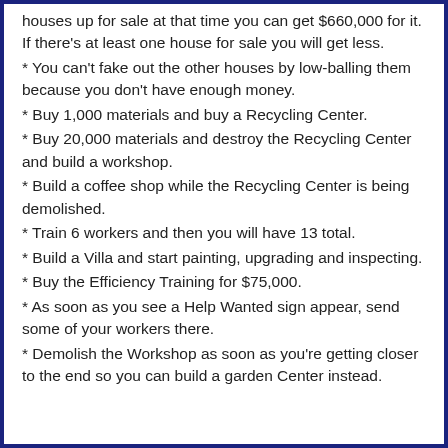houses up for sale at that time you can get $660,000 for it. If there's at least one house for sale you will get less.
* You can't fake out the other houses by low-balling them because you don't have enough money.
* Buy 1,000 materials and buy a Recycling Center.
* Buy 20,000 materials and destroy the Recycling Center and build a workshop.
* Build a coffee shop while the Recycling Center is being demolished.
* Train 6 workers and then you will have 13 total.
* Build a Villa and start painting, upgrading and inspecting.
* Buy the Efficiency Training for $75,000.
* As soon as you see a Help Wanted sign appear, send some of your workers there.
* Demolish the Workshop as soon as you're getting closer to the end so you can build a garden Center instead.